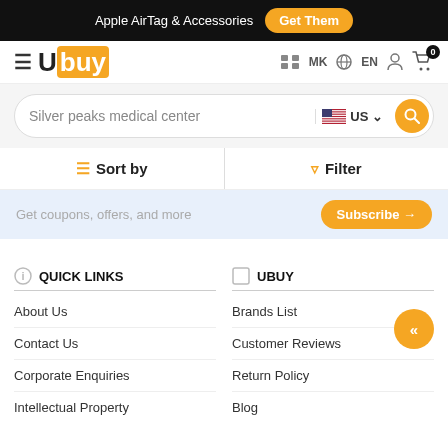Apple AirTag & Accessories  Get Them
[Figure (logo): Ubuy logo with orange square background on 'buy' portion, hamburger menu icon on left]
MK  EN
Silver peaks medical center  US
Sort by  Filter
Get coupons, offers, and more  Subscribe →
QUICK LINKS
About Us
Contact Us
Corporate Enquiries
Intellectual Property
UBUY
Brands List
Customer Reviews
Return Policy
Blog